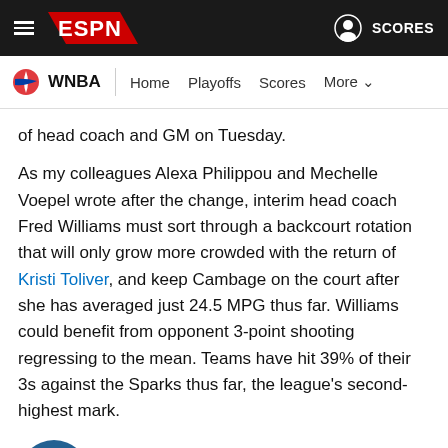ESPN — WNBA | Home | Playoffs | Scores | More
of head coach and GM on Tuesday.
As my colleagues Alexa Philippou and Mechelle Voepel wrote after the change, interim head coach Fred Williams must sort through a backcourt rotation that will only grow more crowded with the return of Kristi Toliver, and keep Cambage on the court after she has averaged just 24.5 MPG thus far. Williams could benefit from opponent 3-point shooting regressing to the mean. Teams have hit 39% of their 3s against the Sparks thus far, the league's second-highest mark.
Minnesota Lynx: Fowles send-off won't go as planned
We see Cheryl Reeve address her coaching staff off...